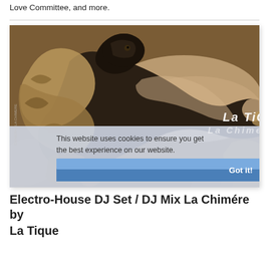Love Committee, and more.
[Figure (illustration): Stylized vector illustration of animals (chimera/lion-like figure) in brown and tan tones with a cookie consent overlay banner showing 'This website uses cookies to ensure you get the best experience on our website.' with a 'Got it!' button. Logos reading 'La Tique' and 'La Chimere' appear in the lower right.]
Electro-House DJ Set / DJ Mix La Chimére by La Tique